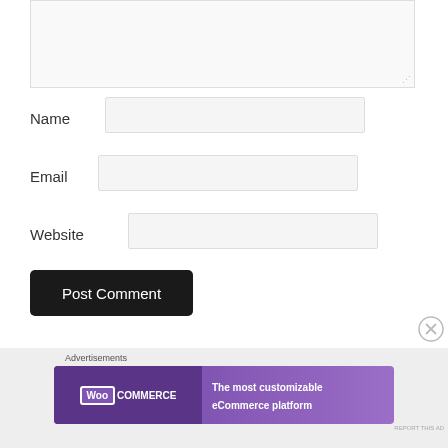[Figure (screenshot): Comment form textarea (top portion, empty, light gray background with resize handle)]
Name
[Figure (screenshot): Name input field (empty, light gray background)]
Email
[Figure (screenshot): Email input field (empty, light gray background)]
Website
[Figure (screenshot): Website input field (empty, light gray background)]
Post Comment
Advertisements
[Figure (screenshot): WooCommerce advertisement banner: 'The most customizable eCommerce platform']